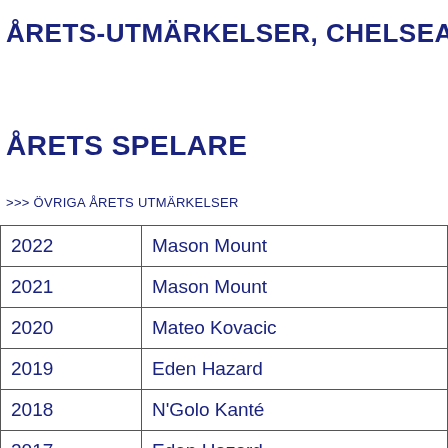ÅRETS-UTMÄRKELSER,  CHELSEA FC
ÅRETS SPELARE
>>> ÖVRIGA ÅRETS UTMÄRKELSER
| Year | Player |
| --- | --- |
| 2022 | Mason Mount |
| 2021 | Mason Mount |
| 2020 | Mateo Kovacic |
| 2019 | Eden Hazard |
| 2018 | N'Golo Kanté |
| 2017 | Eden Hazard |